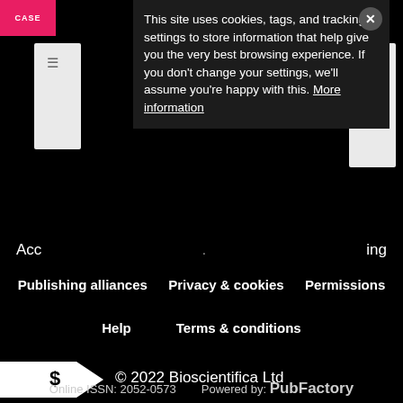[Figure (screenshot): Partial website screenshot showing a cookie consent popup over a journal website. The popup has text about cookies/tracking settings and a 'More information' link. Behind it is a partial navigation bar with filter icon and a white panel.]
This site uses cookies, tags, and tracking settings to store information that help give you the very best browsing experience. If you don't change your settings, we'll assume you're happy with this. More information
Acc . ing
Publishing alliances   Privacy & cookies   Permissions   Help   Terms & conditions
© 2022 Bioscientifica Ltd
Follow us on:
Online ISSN: 2052-0573   Powered by: PubFactory